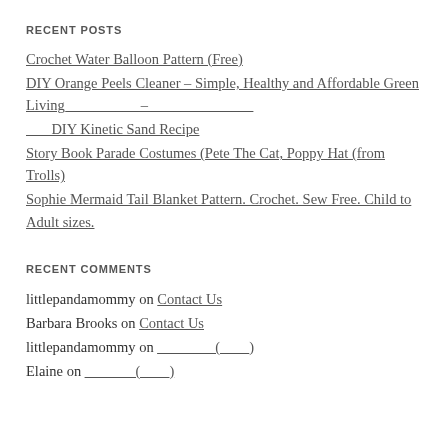RECENT POSTS
Crochet Water Balloon Pattern (Free)
DIY Orange Peels Cleaner – Simple, Healthy and Affordable Green Living__________ – ______________
_______ DIY Kinetic Sand Recipe
Story Book Parade Costumes (Pete The Cat, Poppy Hat (from Trolls)
Sophie Mermaid Tail Blanket Pattern. Crochet. Sew Free. Child to Adult sizes.
RECENT COMMENTS
littlepandamommy on Contact Us
Barbara Brooks on Contact Us
littlepandamommy on ________(_____)
Elaine on _______(_____)